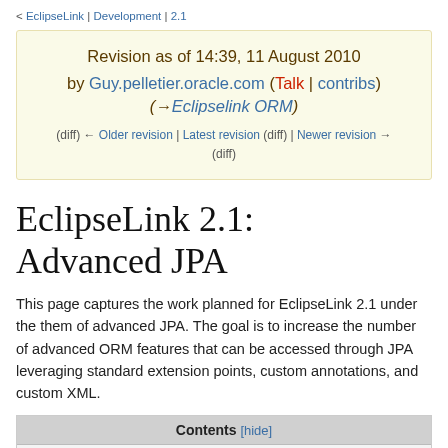< EclipseLink | Development | 2.1
Revision as of 14:39, 11 August 2010 by Guy.pelletier.oracle.com (Talk | contribs) (→Eclipselink ORM)
(diff) ← Older revision | Latest revision (diff) | Newer revision → (diff)
EclipseLink 2.1: Advanced JPA
This page captures the work planned for EclipseLink 2.1 under the them of advanced JPA. The goal is to increase the number of advanced ORM features that can be accessed through JPA leveraging standard extension points, custom annotations, and custom XML.
Contents [hide]
1 EclipseLink 2.1: Advanced JPA